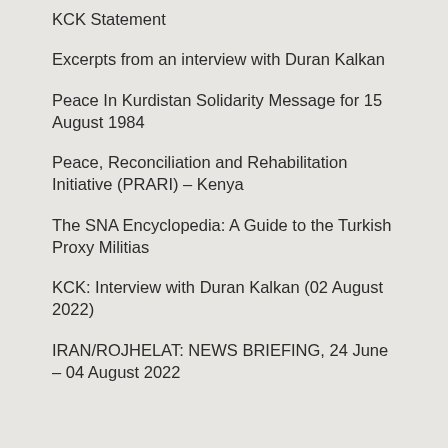KCK Statement
Excerpts from an interview with Duran Kalkan
Peace In Kurdistan Solidarity Message for 15 August 1984
Peace, Reconciliation and Rehabilitation Initiative (PRARI) – Kenya
The SNA Encyclopedia: A Guide to the Turkish Proxy Militias
KCK: Interview with Duran Kalkan (02 August 2022)
IRAN/ROJHELAT: NEWS BRIEFING, 24 June – 04 August 2022